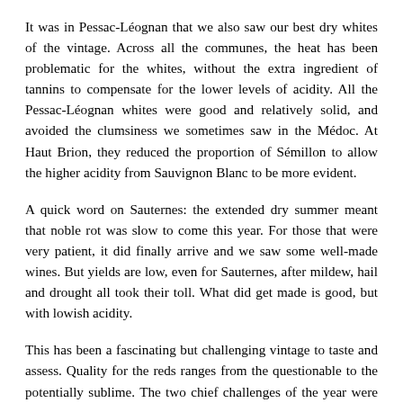It was in Pessac-Léognan that we also saw our best dry whites of the vintage. Across all the communes, the heat has been problematic for the whites, without the extra ingredient of tannins to compensate for the lower levels of acidity. All the Pessac-Léognan whites were good and relatively solid, and avoided the clumsiness we sometimes saw in the Médoc. At Haut Brion, they reduced the proportion of Sémillon to allow the higher acidity from Sauvignon Blanc to be more evident.
A quick word on Sauternes: the extended dry summer meant that noble rot was slow to come this year. For those that were very patient, it did finally arrive and we saw some well-made wines. But yields are low, even for Sauternes, after mildew, hail and drought all took their toll. What did get made is good, but with lowish acidity.
This has been a fascinating but challenging vintage to taste and assess. Quality for the reds ranges from the questionable to the potentially sublime. The two chief challenges of the year were June's mildew explosion and the